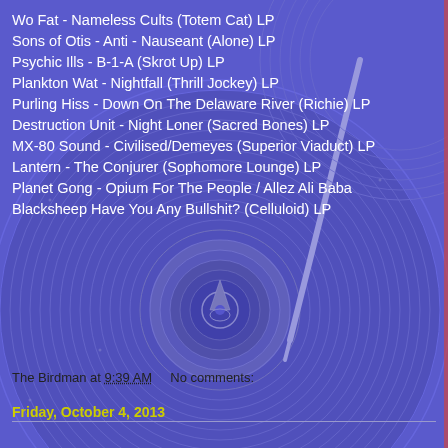[Figure (illustration): Purple/blue illustrated vinyl record on turntable with tonearm, concentric grooves visible, forming the background of the page]
Wo Fat - Nameless Cults (Totem Cat) LP
Sons of Otis -  Anti - Nauseant (Alone) LP
Psychic Ills - B-1-A (Skrot Up) LP
Plankton Wat - Nightfall (Thrill Jockey) LP
Purling Hiss - Down On The Delaware River (Richie) LP
Destruction Unit - Night Loner (Sacred Bones) LP
MX-80 Sound - Civilised/Demeyes (Superior Viaduct) LP
Lantern -  The Conjurer (Sophomore Lounge) LP
Planet Gong - Opium For The People / Allez Ali Baba
Blacksheep Have You Any Bullshit? (Celluloid) LP
The Birdman at 9:39 AM    No comments:
Friday, October 4, 2013